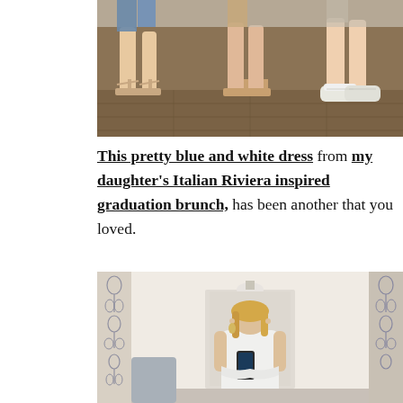[Figure (photo): Close-up photo of women's feet and shoes on a wooden floor — open-toed heeled sandals on the left, strappy sandals in the middle, and white sneakers on the right.]
This pretty blue and white dress from my daughter's Italian Riviera inspired graduation brunch, has been another that you loved.
[Figure (photo): A blonde woman in a white sleeveless mini dress taking a mirror selfie with her phone in a room with decorative floral-motif mirror frames on either side.]